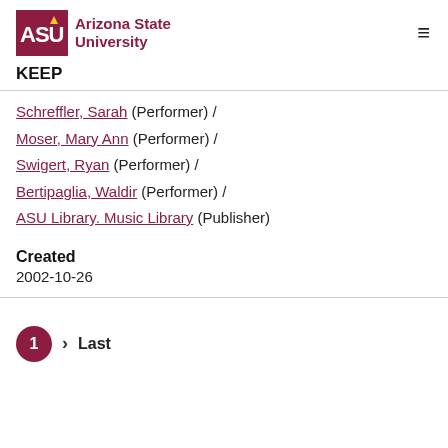Arizona State University — KEEP
Schreffler, Sarah (Performer) /
Moser, Mary Ann (Performer) /
Swigert, Ryan (Performer) /
Bertipaglia, Waldir (Performer) /
ASU Library. Music Library (Publisher)
Created
2002-10-26
1 › Last